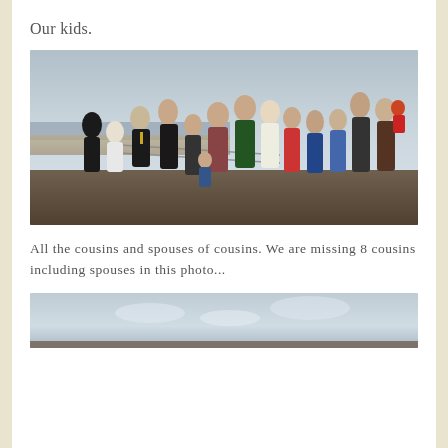Our kids.
[Figure (photo): Group photo of cousins and spouses standing outdoors near a beach with metal fence railing visible behind them, overcast sky in background.]
All the cousins and spouses of cousins. We are missing 8 cousins including spouses in this photo...
[Figure (photo): Partial view of another outdoor photo, showing mostly overcast sky with ground at bottom.]